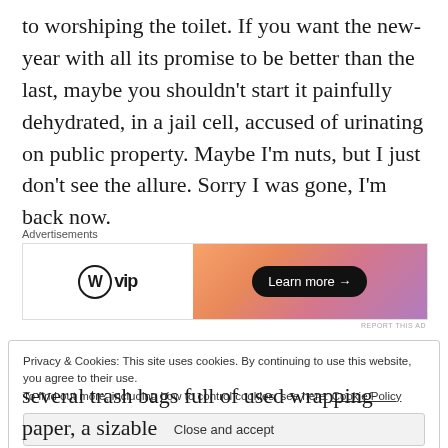to worshiping the toilet. If you want the new-year with all its promise to be better than the last, maybe you shouldn't start it painfully dehydrated, in a jail cell, accused of urinating on public property. Maybe I'm nuts, but I just don't see the allure. Sorry I was gone, I'm back now.
[Figure (other): WordPress VIP advertisement banner with orange/pink gradient background and 'Learn more' button]
Privacy & Cookies: This site uses cookies. By continuing to use this website, you agree to their use. To find out more, including how to control cookies, see here: Cookie Policy
Close and accept
several trash bags full of used wrapping paper, a sizable